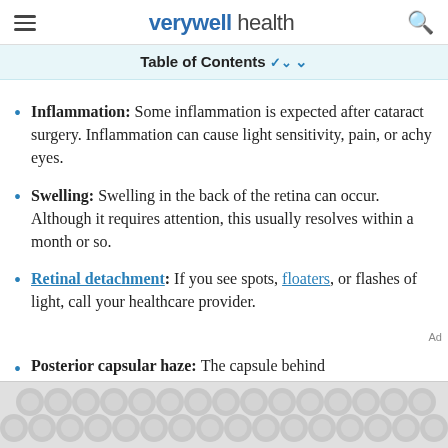verywell health
Table of Contents
Inflammation: Some inflammation is expected after cataract surgery. Inflammation can cause light sensitivity, pain, or achy eyes.
Swelling: Swelling in the back of the retina can occur. Although it requires attention, this usually resolves within a month or so.
Retinal detachment: If you see spots, floaters, or flashes of light, call your healthcare provider.
Posterior capsular haze: The capsule behind